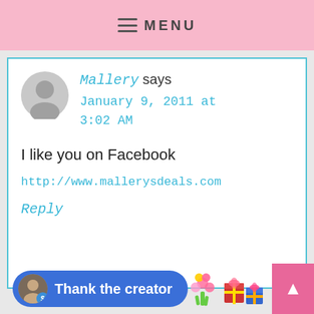MENU
Mallery says
January 9, 2011 at 3:02 AM
I like you on Facebook
http://www.mallerysdeals.com
Reply